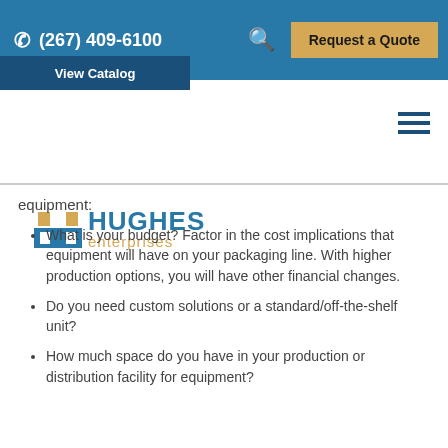(267) 409-6100  Request a Quote  View Catalog
[Figure (logo): Hughes Enterprises logo with blue and gold building icon and text]
equipment:
What is your budget? Factor in the cost implications that equipment will have on your packaging line. With higher production options, you will have other financial changes.
Do you need custom solutions or a standard/off-the-shelf unit?
How much space do you have in your production or distribution facility for equipment?